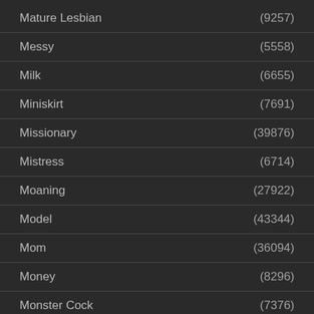Mature Lesbian (9257)
Messy (5558)
Milk (6655)
Miniskirt (7691)
Missionary (39876)
Mistress (6714)
Moaning (27922)
Model (43344)
Mom (36094)
Money (8296)
Monster Cock (7376)
Mouthful (54739)